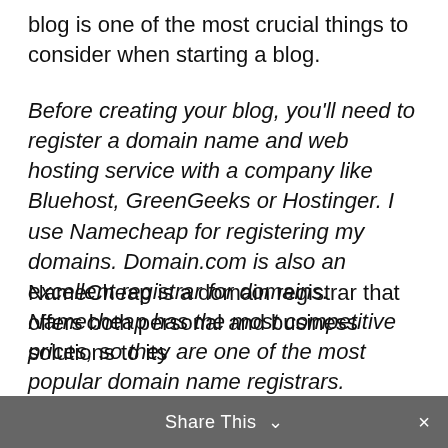blog is one of the most crucial things to consider when starting a blog.
Before creating your blog, you'll need to register a domain name and web hosting service with a company like Bluehost, GreenGeeks or Hostinger. I use Namecheap for registering my domains. Domain.com is also an excellent registrar for domains. Namecheap has the most competitive prices, so they are one of the most popular domain name registrars.
NameCheap is a domain registrar that offers both personal and business solutions to its
Share This ∨  ×